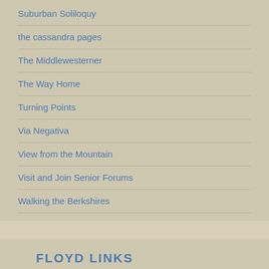Suburban Soliloquy
the cassandra pages
The Middlewesterner
The Way Home
Turning Points
Via Negativa
View from the Mountain
Visit and Join Senior Forums
Walking the Berkshires
FLOYD LINKS